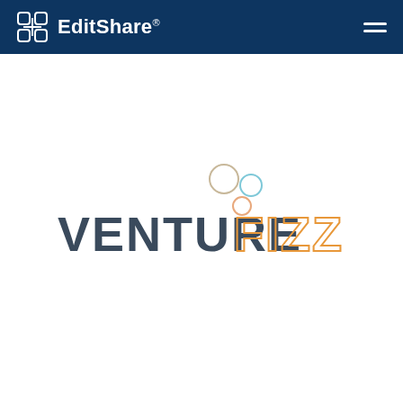EditShare®
[Figure (logo): VentureFizz logo with dark text 'VENTURE' and orange outlined text 'fizz' with three bubbles (circles) above in beige, light blue, and peach colors]